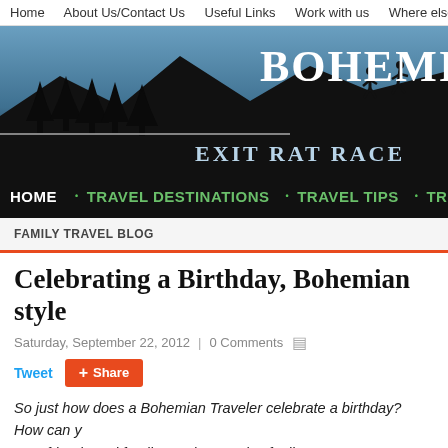Home  About Us/Contact Us  Useful Links  Work with us  Where else can you see us
[Figure (illustration): Website banner with mountain/forest silhouette against blue-grey sky, title BOHEMIA and tagline EXIT RAT RACE, two hiker silhouettes on ridge]
HOME • TRAVEL DESTINATIONS • TRAVEL TIPS • TRAV…
FAMILY TRAVEL BLOG
Celebrating a Birthday, Bohemian style
Saturday, September 22, 2012 | 0 Comments
Tweet  Share
So just how does a Bohemian Traveler celebrate a birthday?  How can your friends and family are thousands of miles away?
[Figure (photo): Partial photo at bottom of page, appears to show outdoor/nature scene in dark green tones]